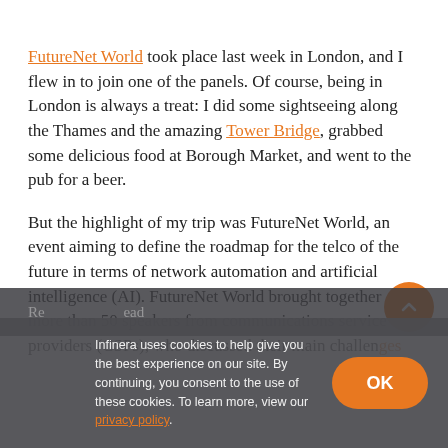FutureNet World took place last week in London, and I flew in to join one of the panels. Of course, being in London is always a treat: I did some sightseeing along the Thames and the amazing Tower Bridge, grabbed some delicious food at Borough Market, and went to the pub for a beer.
But the highlight of my trip was FutureNet World, an event aiming to define the roadmap for the telco of the future in terms of network automation and artificial intelligence (AI). FutureNet World brought together more than 50 speakers from communications service providers (CSPs), who discussed their main challenges
Infinera uses cookies to help give you the best experience on our site. By continuing, you consent to the use of these cookies. To learn more, view our privacy policy.